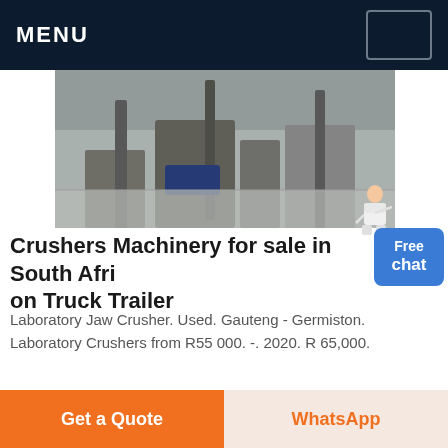MENU
[Figure (photo): Industrial crusher machinery with metal framework and dust/debris on the ground in a mining or construction site]
Crushers Machinery for sale in South Africa on Truck Trailer
Laboratory Jaw Crusher. Used. Gauteng - Germiston. Laboratory Crushers from R55 000. -. 2020. R 65,000.
Get Price
[Figure (photo): Industrial tire or wheel component against a blue sky background]
Get a Quote
WhatsApp